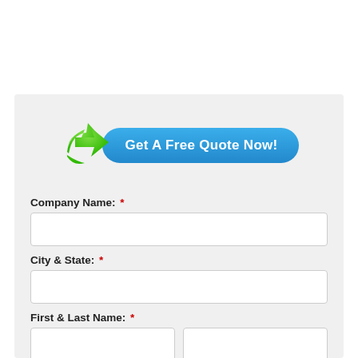[Figure (infographic): Green arrow icon overlapping a blue rounded-rectangle button with white bold text 'Get A Free Quote Now!']
Company Name: *
City & State: *
First & Last Name: *